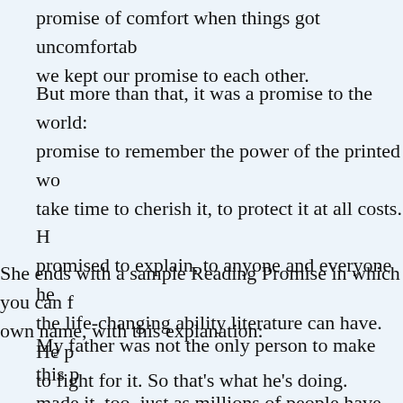promise of comfort when things got uncomfortable. we kept our promise to each other.
But more than that, it was a promise to the world: a promise to remember the power of the printed word, to take time to cherish it, to protect it at all costs. He promised to explain, to anyone and everyone he met, the life-changing ability literature can have. He promised to fight for it. So that's what he's doing.
She ends with a sample Reading Promise in which you can fill in your own name, with this explanation:
My father was not the only person to make this promise. I made it, too, just as millions of people have made it around the world. Since books were first created, copied by hand beside glowing firelight, many have recognized